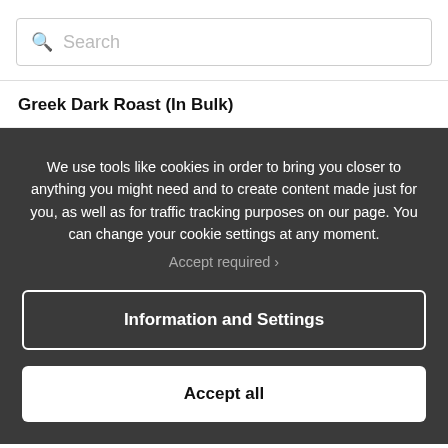[Figure (screenshot): Search box with magnifying glass icon and placeholder text 'Search']
Greek Dark Roast (In Bulk)
We use tools like cookies in order to bring you closer to anything you might need and to create content made just for you, as well as for traffic tracking purposes on our page. You can change your cookie settings at any moment.
Accept required ›
Information and Settings
Accept all